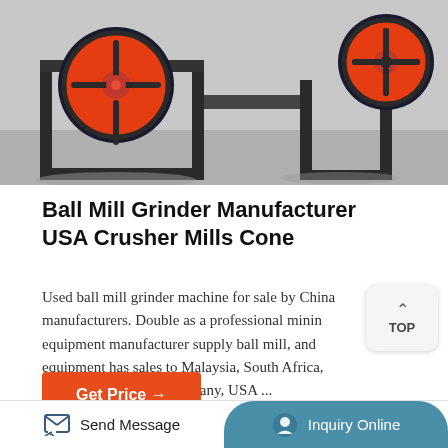[Figure (photo): Industrial ball mill grinder machine with large red flywheel and black metal frame, photographed in a factory/warehouse setting]
Ball Mill Grinder Manufacturer USA Crusher Mills Cone
Used ball mill grinder machine for sale by China manufacturers. Double as a professional mining equipment manufacturer supply ball mill, and equipment has sales to Malaysia, South Africa, Saudi Arabia, India, Germany, USA ...
[Figure (photo): Another industrial machine photo partially visible at the bottom of the page]
Send Message   Inquiry Online